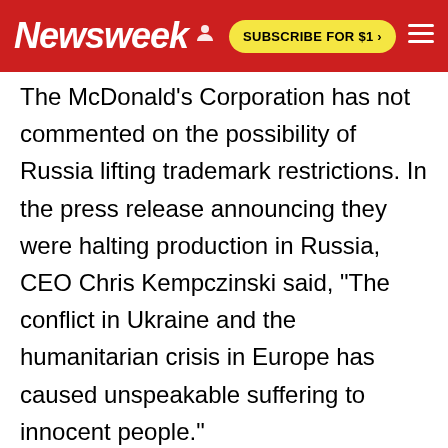Newsweek   SUBSCRIBE FOR $1 >
The McDonald's Corporation has not commented on the possibility of Russia lifting trademark restrictions. In the press release announcing they were halting production in Russia, CEO Chris Kempczinski said, "The conflict in Ukraine and the humanitarian crisis in Europe has caused unspeakable suffering to innocent people."
"In the thirty-plus years that McDonald's has operated in Russia, we've become an essential part of the 850 communities in which we operate," the press release added. "At the